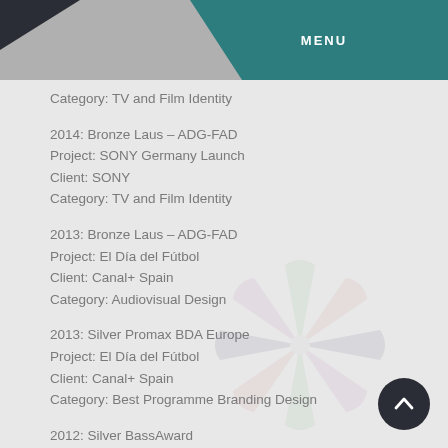MENU
Category: TV and Film Identity
2014: Bronze Laus – ADG-FAD
Project: SONY Germany Launch
Client: SONY
Category: TV and Film Identity
2013: Bronze Laus – ADG-FAD
Project: El Día del Fútbol
Client: Canal+ Spain
Category: Audiovisual Design
2013: Silver Promax BDA Europe
Project: El Día del Fútbol
Client: Canal+ Spain
Category: Best Programme Branding Design
2012: Silver BassAward
Project: Personas Que – Bipolar